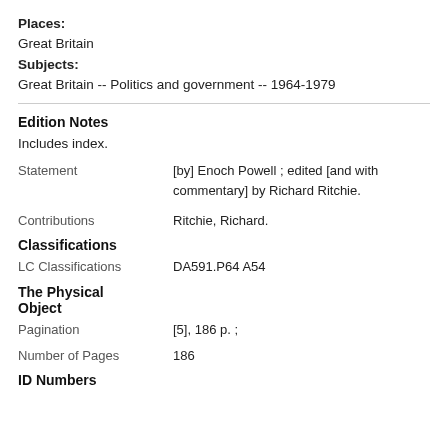Places:
Great Britain
Subjects:
Great Britain -- Politics and government -- 1964-1979
Edition Notes
Includes index.
Statement    [by] Enoch Powell ; edited [and with commentary] by Richard Ritchie.
Contributions    Ritchie, Richard.
Classifications
LC Classifications    DA591.P64 A54
The Physical Object
Pagination    [5], 186 p. ;
Number of Pages    186
ID Numbers